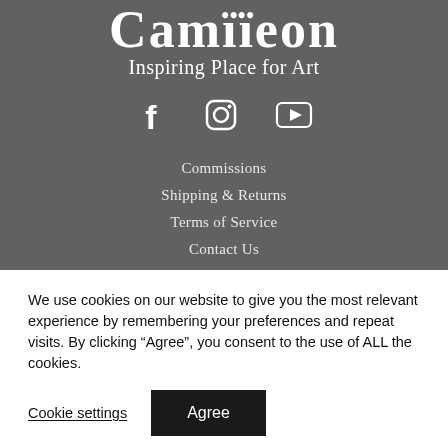Gammïeon
Inspiring Place for Art
[Figure (illustration): Social media icons: Facebook, Instagram, YouTube]
Commissions
Shipping & Returns
Terms of Service
Contact Us
We use cookies on our website to give you the most relevant experience by remembering your preferences and repeat visits. By clicking “Agree”, you consent to the use of ALL the cookies.
Cookie settings  Agree